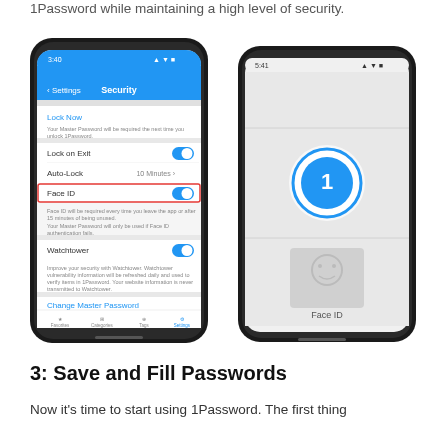1Password while maintaining a high level of security.
[Figure (screenshot): Two iPhone X screenshots side by side. Left screenshot shows 1Password Security settings screen with Lock Now, Lock on Exit, Auto-Lock (10 Minutes), Face ID (toggled on, highlighted with red border), and Watchtower options. Right screenshot shows 1Password Face ID unlock screen with the 1Password logo icon and Face ID prompt.]
3: Save and Fill Passwords
Now it's time to start using 1Password. The first thing